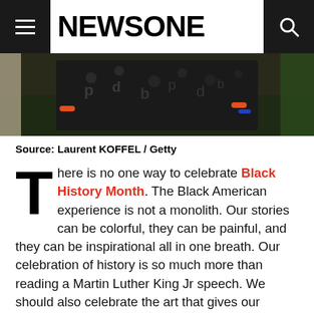NEWSONE
[Figure (photo): Close-up photograph of a person wearing a dark patterned shirt with jewelry/bracelets, outdoors with greenery in background]
Source: Laurent KOFFEL / Getty
There is no one way to celebrate Black History Month. The Black American experience is not a monolith. Our stories can be colorful, they can be painful, and they can be inspirational all in one breath. Our celebration of history is so much more than reading a Martin Luther King Jr speech. We should also celebrate the art that gives our history life.